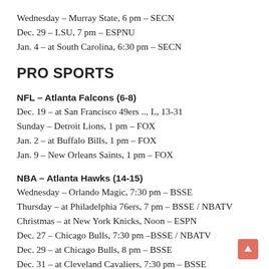Wednesday – Murray State, 6 pm – SECN
Dec. 29 – LSU, 7 pm – ESPNU
Jan. 4 – at South Carolina, 6:30 pm – SECN
PRO SPORTS
NFL – Atlanta Falcons (6-8)
Dec. 19 – at San Francisco 49ers ... L, 13-31
Sunday – Detroit Lions, 1 pm – FOX
Jan. 2 – at Buffalo Bills, 1 pm – FOX
Jan. 9 – New Orleans Saints, 1 pm – FOX
NBA – Atlanta Hawks (14-15)
Wednesday – Orlando Magic, 7:30 pm – BSSE
Thursday – at Philadelphia 76ers, 7 pm – BSSE / NBATV
Christmas – at New York Knicks, Noon – ESPN
Dec. 27 – Chicago Bulls, 7:30 pm –BSSE / NBATV
Dec. 29 – at Chicago Bulls, 8 pm – BSSE
Dec. 31 – at Cleveland Cavaliers, 7:30 pm – BSSE